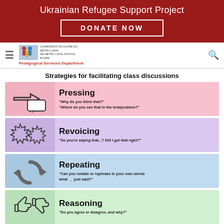Ukrainian Refugee Support Project
DONATE NOW
[Figure (logo): Commission scolaire du Metro Laval / De Metro Laval School Board logo with Pedagogical Services Department text]
Strategies for facilitating class discussions
[Figure (infographic): Four strategy cards: Pressing with arrow and speech bubble icon, Revoicing with burst icons, Repeating with circular arrows icon, Reasoning with thumbs up/down icons]
Pressing - "Why do you think that?" "Where do you see that in the text/problem?"
Revoicing - "So you're saying that...? Did I get that right?"
Repeating - "Can you restate or rephrase in your own words what __ just said?"
Reasoning - "Do you agree or disagree, and why?"